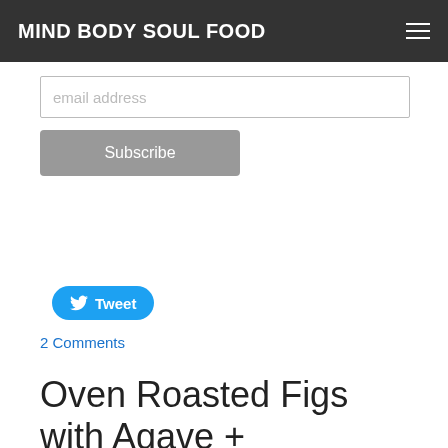MIND BODY SOUL FOOD
email address
Subscribe
[Figure (other): Tweet button with Twitter bird icon]
2 Comments
Oven Roasted Figs with Agave + Sage
11/27/2018
1 Comment